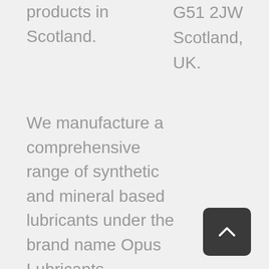products in Scotland.
G51 2JW
Scotland,
UK.
We manufacture a comprehensive range of synthetic and mineral based lubricants under the brand name Opus Lubricants.
[Figure (other): Back to top button — dark rounded square with upward chevron arrow icon]